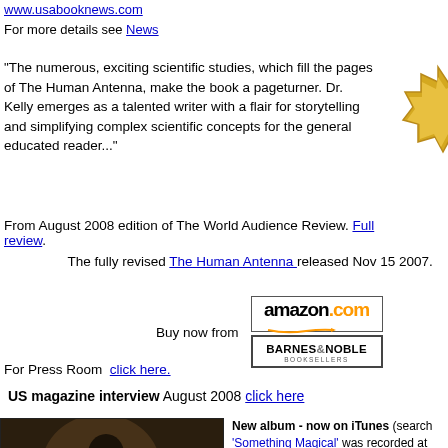www.usabooknews.com
For more details see News
"The numerous, exciting scientific studies, which fill the pages of The Human Antenna, make the book a pageturner. Dr. Kelly emerges as a talented writer with a flair for storytelling and simplifying complex scientific concepts for the general educated reader..."
From August 2008 edition of The World Audience Review. Full review.
The fully revised The Human Antenna released Nov 15 2007.
Buy now from [amazon.com] [Barnes & Noble]
For Press Room  click here.
US magazine interview August 2008 click here
[Figure (photo): Album cover photo - Something Magical by Robin Kelly, sepia-toned photo of man playing guitar]
New album - now on iTunes (search 'Something Magical' was recorded at Orewa, Auckland from January to Se... features songs composed over the pa... closely follow Robin's writing. Songs of hope, love and magic - and yodel. Engineered and mixed by Mike